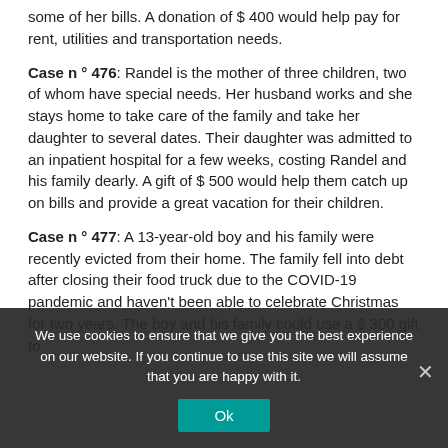some of her bills. A donation of $ 400 would help pay for rent, utilities and transportation needs.
Case n ° 476: Randel is the mother of three children, two of whom have special needs. Her husband works and she stays home to take care of the family and take her daughter to several dates. Their daughter was admitted to an inpatient hospital for a few weeks, costing Randel and his family dearly. A gift of $ 500 would help them catch up on bills and provide a great vacation for their children.
Case n ° 477: A 13-year-old boy and his family were recently evicted from their home. The family fell into debt after closing their food truck due to the COVID-19 pandemic and haven't been able to celebrate Christmas for two years. The boy and his family could use a $ 300 gift to...
We use cookies to ensure that we give you the best experience on our website. If you continue to use this site we will assume that you are happy with it.